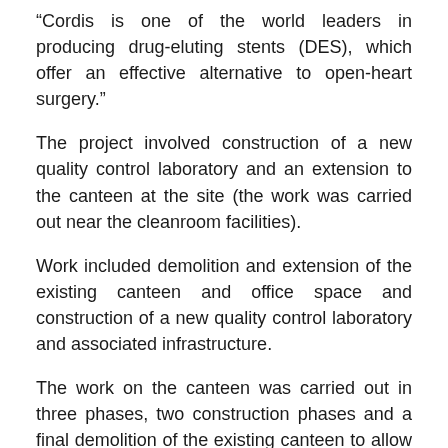“Cordis is one of the world leaders in producing drug-eluting stents (DES), which offer an effective alternative to open-heart surgery.”
The project involved construction of a new quality control laboratory and an extension to the canteen at the site (the work was carried out near the cleanroom facilities).
Work included demolition and extension of the existing canteen and office space and construction of a new quality control laboratory and associated infrastructure.
The work on the canteen was carried out in three phases, two construction phases and a final demolition of the existing canteen to allow continued use of facilities during the construction phase.
The laboratory was a single-storey steel and concrete